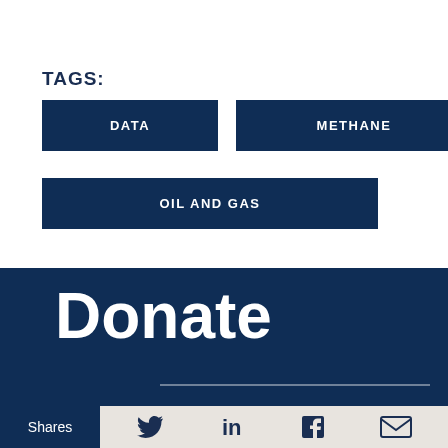TAGS:
DATA
METHANE
OIL AND GAS
Donate
Shares